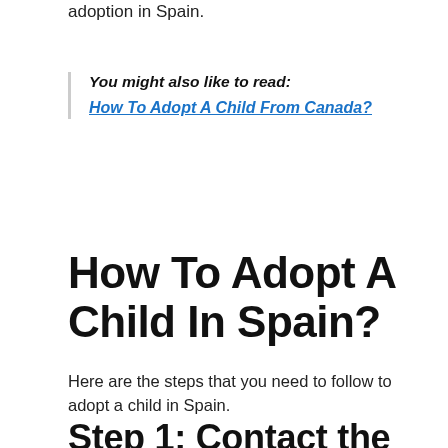adoption in Spain.
You might also like to read: How To Adopt A Child From Canada?
How To Adopt A Child In Spain?
Here are the steps that you need to follow to adopt a child in Spain.
Step 1: Contact the Child Protection